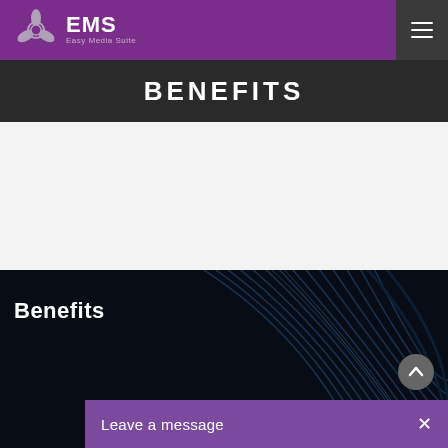EMS Easy Media Suite
BENEFITS
[Figure (screenshot): White/light content area, blank]
[Figure (photo): Dark section with abstract swirling lines resembling a vinyl record or curved architectural structure, with 'Benefits' text overlay and partial magnifier circle at bottom]
Benefits
Leave a message